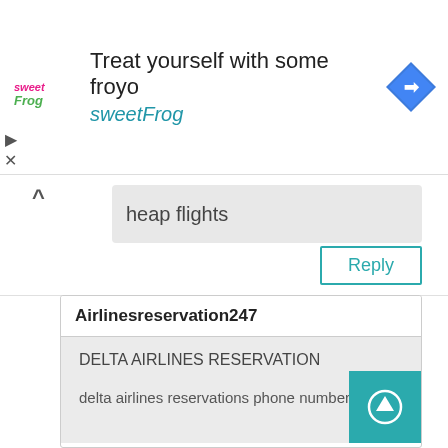[Figure (screenshot): Advertisement banner for sweetFrog frozen yogurt with logo, text 'Treat yourself with some froyo', 'sweetFrog' link, and navigation diamond icon]
heap flights
Reply
Airlinesreservation247
DELTA AIRLINES RESERVATION
delta airlines reservations phone number